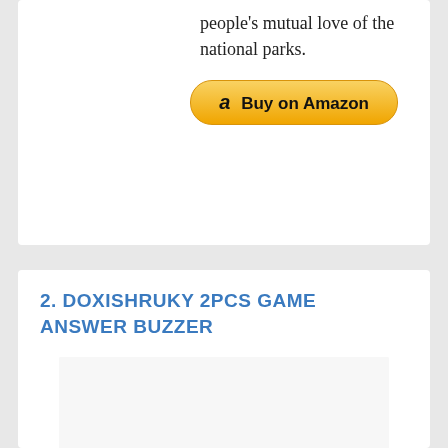people's mutual love of the national parks.
[Figure (other): Buy on Amazon button with Amazon logo]
2. DOXISHRUKY 2PCS GAME ANSWER BUZZER
[Figure (photo): Two game answer buzzers with red dome buttons on top of blue and black square bases with white X marks on the sides]
Game buzzer button with light and sound tips.